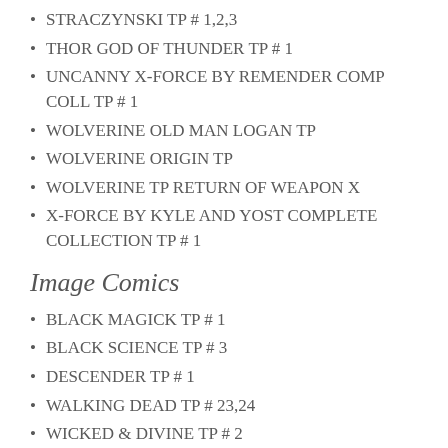STRACZYNSKI TP # 1,2,3
THOR GOD OF THUNDER TP # 1
UNCANNY X-FORCE BY REMENDER COMP COLL TP # 1
WOLVERINE OLD MAN LOGAN TP
WOLVERINE ORIGIN TP
WOLVERINE TP RETURN OF WEAPON X
X-FORCE BY KYLE AND YOST COMPLETE COLLECTION TP # 1
Image Comics
BLACK MAGICK TP # 1
BLACK SCIENCE TP # 3
DESCENDER TP # 1
WALKING DEAD TP # 23,24
WICKED & DIVINE TP # 2